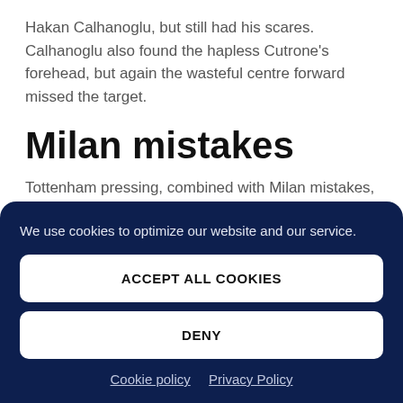Hakan Calhanoglu, but still had his scares. Calhanoglu also found the hapless Cutrone's forehead, but again the wasteful centre forward missed the target.
Milan mistakes
Tottenham pressing, combined with Milan mistakes, settled the match.
We use cookies to optimize our website and our service.
ACCEPT ALL COOKIES
DENY
Cookie policy  Privacy Policy